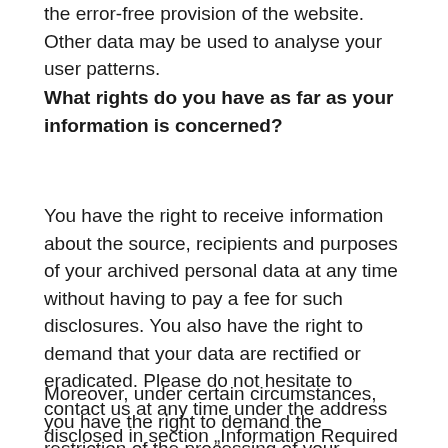the error-free provision of the website. Other data may be used to analyse your user patterns.
What rights do you have as far as your information is concerned?
You have the right to receive information about the source, recipients and purposes of your archived personal data at any time without having to pay a fee for such disclosures. You also have the right to demand that your data are rectified or eradicated. Please do not hesitate to contact us at any time under the address disclosed in section „Information Required by Law“ on this website if you have questions about this or any other data protection related issues. You also have the right to log a complaint with the competent supervising agency.
Moreover, under certain circumstances, you have the right to demand the restriction of the processing of your personal data. For details, please consult the Data